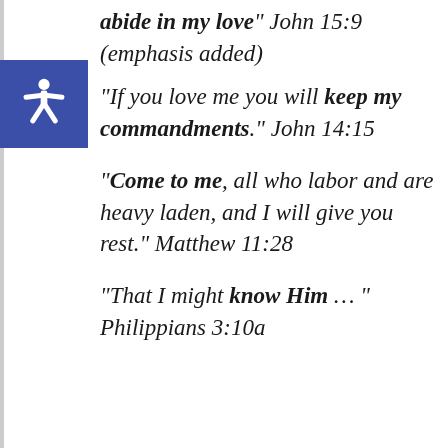“abide in my love” John 15:9 (emphasis added)
“If you love me you will keep my commandments.” John 14:15
“Come to me, all who labor and are heavy laden, and I will give you rest.” Matthew 11:28
“That I might know Him … ” Philippians 3:10a